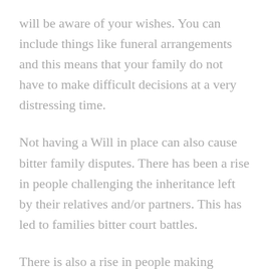will be aware of your wishes. You can include things like funeral arrangements and this means that your family do not have to make difficult decisions at a very distressing time.
Not having a Will in place can also cause bitter family disputes. There has been a rise in people challenging the inheritance left by their relatives and/or partners. This has led to families bitter court battles.
There is also a rise in people making claims under the Inheritance (Provision for Family and Dependants) Act 1975. Again, this sometimes leads to bitter disputes
Families are broken and feuds are made by simply not